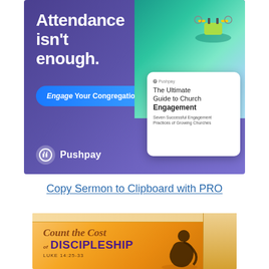[Figure (illustration): Pushpay advertisement banner with purple gradient background. Left side shows headline 'Attendance isn't enough.' with a blue rounded button 'Engage Your Congregation >' and the Pushpay logo at bottom. Right side shows a tablet device displaying 'The Ultimate Guide to Church Engagement' guide cover with a drone image above.]
Copy Sermon to Clipboard with PRO
[Figure (illustration): 3D box illustration with warm orange/golden gradient background. Text on box reads 'Count the Cost of DISCIPLESHIP' with 'LUKE 14:25-33' below. A silhouette of a person kneeling in prayer is visible on the right side of the box.]